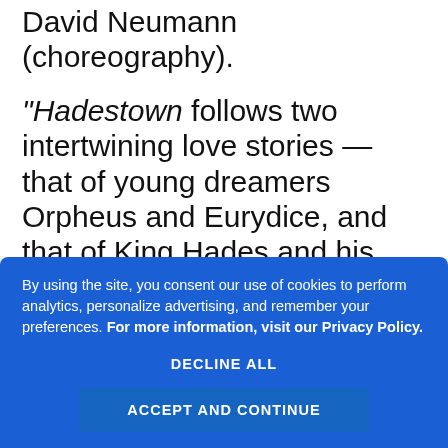David Neumann (choreography).
“Hadestown follows two intertwining love stories — that of young dreamers Orpheus and Eurydice, and that of King Hades and his wife Persephone — as it invites audiences on an epic journey to the underworld and back. Mitchell’s beguiling melodies and Chavkin’s poetic imagination pit nature against industry, faith against doubt, and love against fear. Performed by a vibrant ensemble of actors
By using the site, you consent our use of cookies to perform analytics, personalize advertising, and remember your preferences. For more information, visit our Privacy Policy.
DECLINE ALL
ACCEPT AND CONTINUE